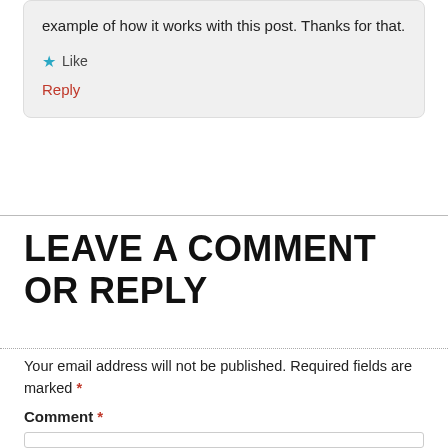example of how it works with this post. Thanks for that.
★ Like
Reply
LEAVE A COMMENT OR REPLY
Your email address will not be published. Required fields are marked *
Comment *